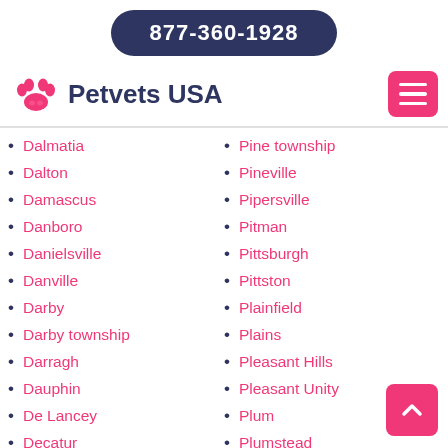877-360-1928
Petvets USA
Dalmatia
Dalton
Damascus
Danboro
Danielsville
Danville
Darby
Darby township
Darragh
Dauphin
De Lancey
Decatur
Delano
Pine township
Pineville
Pipersville
Pitman
Pittsburgh
Pittston
Plainfield
Plains
Pleasant Hills
Pleasant Unity
Plum
Plumstead
Plumsteadville